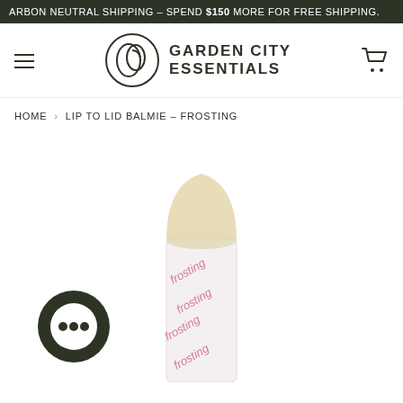ARBON NEUTRAL SHIPPING – SPEND $150 MORE FOR FREE SHIPPING.
[Figure (logo): Garden City Essentials logo with circular G icon and hamburger menu, cart icon navigation header]
HOME > LIP TO LID BALMIE – FROSTING
[Figure (photo): Close-up product photo of a Lip to Lid Balmie pencil in Frosting shade, showing the cream-colored balm tip and white wrapper with pink 'frosting' text repeated. A circular chat bubble icon is visible in the lower left.]